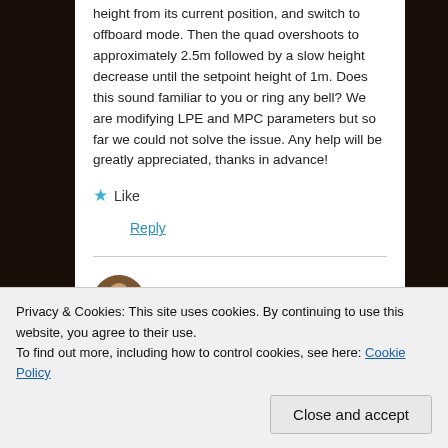height from its current position, and switch to offboard mode. Then the quad overshoots to approximately 2.5m followed by a slow height decrease until the setpoint height of 1m. Does this sound familiar to you or ring any bell? We are modifying LPE and MPC parameters but so far we could not solve the issue. Any help will be greatly appreciated, thanks in advance!
★ Like
Reply
[Figure (photo): Circular avatar photo of a person, partially visible at bottom of content area]
Privacy & Cookies: This site uses cookies. By continuing to use this website, you agree to their use.
To find out more, including how to control cookies, see here: Cookie Policy
Close and accept